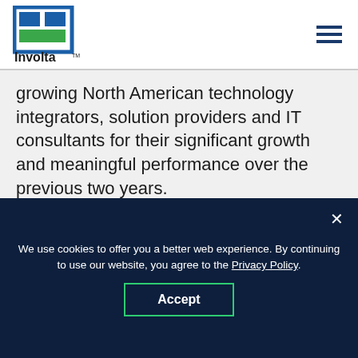[Figure (logo): Involta company logo with blue and green squares and rectangle forming a grid pattern, with 'Involta' text below and TM mark]
growing North American technology integrators, solution providers and IT consultants for their significant growth and meaningful performance over the previous two years.
The IT channel's ecosystem of solution providers delivers innovative services to keep businesses connected while empowering digital
We use cookies to offer you a better web experience. By continuing to use our website, you agree to the Privacy Policy.